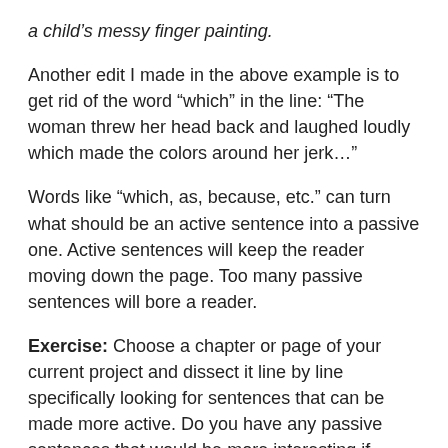a child's messy finger painting.
Another edit I made in the above example is to get rid of the word “which” in the line: “The woman threw her head back and laughed loudly which made the colors around her jerk…”
Words like “which, as, because, etc.” can turn what should be an active sentence into a passive one. Active sentences will keep the reader moving down the page. Too many passive sentences will bore a reader.
Exercise: Choose a chapter or page of your current project and dissect it line by line specifically looking for sentences that can be made more active. Do you have any passive sentences that would be more interesting if made active? Do you have any filter words that are